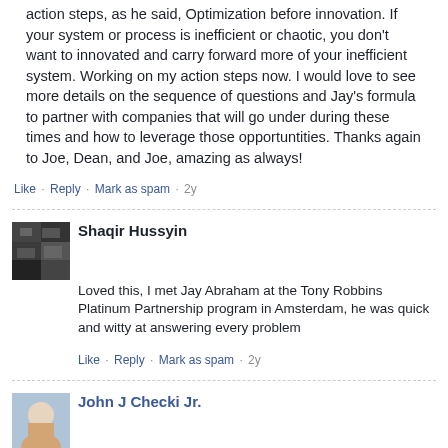action steps, as he said, Optimization before innovation. If your system or process is inefficient or chaotic, you don't want to innovated and carry forward more of your inefficient system. Working on my action steps now. I would love to see more details on the sequence of questions and Jay's formula to partner with companies that will go under during these times and how to leverage those opportuntities. Thanks again to Joe, Dean, and Joe, amazing as always!
Like · Reply · Mark as spam · 2y
Shaqir Hussyin
Loved this, I met Jay Abraham at the Tony Robbins Platinum Partnership program in Amsterdam, he was quick and witty at answering every problem
Like · Reply · Mark as spam · 2y
John J Checki Jr.
Swell Idea, Thinking Time question: How can I add value within the current travel and meeting restrengths?
Like · Reply · Mark as spam · 2y